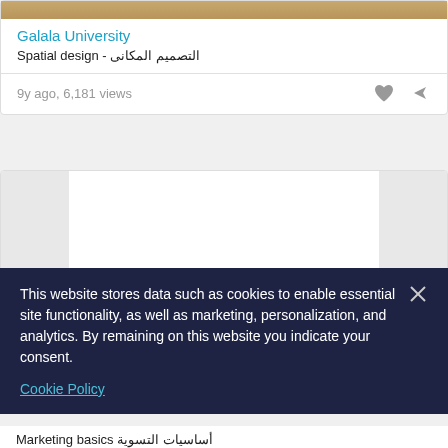[Figure (photo): Partial image of Galala University course thumbnail]
Galala University
Spatial design - التصميم المكانى
9y ago, 6,181 views
[Figure (photo): Partial course card with grey placeholder sidebars]
This website stores data such as cookies to enable essential site functionality, as well as marketing, personalization, and analytics. By remaining on this website you indicate your consent.
Cookie Policy
Marketing basics أساسيات التسوية